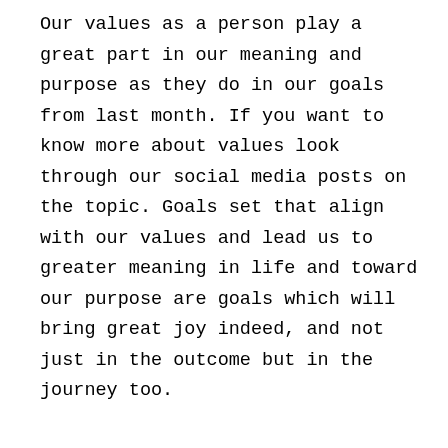Our values as a person play a great part in our meaning and purpose as they do in our goals from last month. If you want to know more about values look through our social media posts on the topic. Goals set that align with our values and lead us to greater meaning in life and toward our purpose are goals which will bring great joy indeed, and not just in the outcome but in the journey too.